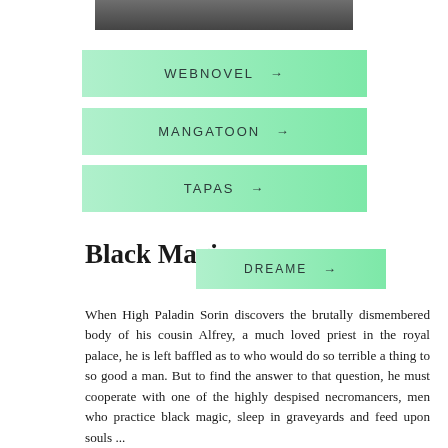[Figure (photo): Dark grayscale image at top of page, partially visible]
WEBNOVEL →
MANGATOON →
TAPAS →
Black Magic
DREAME →
When High Paladin Sorin discovers the brutally dismembered body of his cousin Alfrey, a much loved priest in the royal palace, he is left baffled as to who would do so terrible a thing to so good a man. But to find the answer to that question, he must cooperate with one of the highly despised necromancers, men who practice black magic, sleep in graveyards and feed upon souls ...